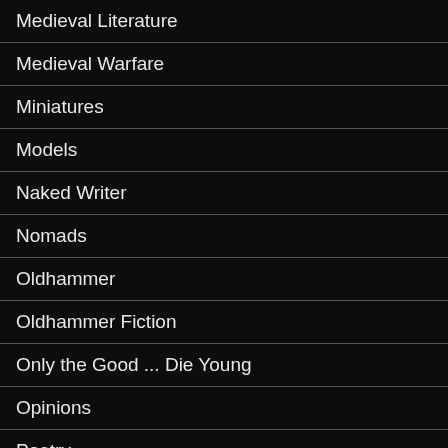Medieval Literature
Medieval Warfare
Miniatures
Models
Naked Writer
Nomads
Oldhammer
Oldhammer Fiction
Only the Good ... Die Young
Opinions
Poetry
Politics
Research for Writers